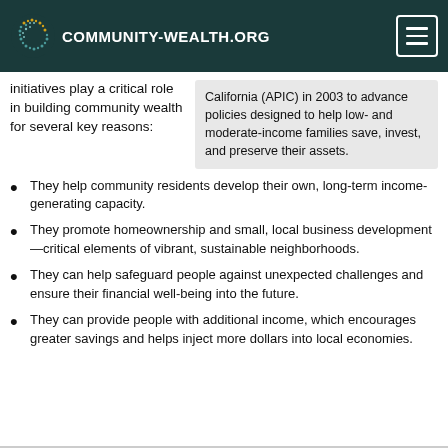COMMUNITY-WEALTH.ORG
initiatives play a critical role in building community wealth for several key reasons:
California (APIC) in 2003 to advance policies designed to help low- and moderate-income families save, invest, and preserve their assets.
They help community residents develop their own, long-term income-generating capacity.
They promote homeownership and small, local business development—critical elements of vibrant, sustainable neighborhoods.
They can help safeguard people against unexpected challenges and ensure their financial well-being into the future.
They can provide people with additional income, which encourages greater savings and helps inject more dollars into local economies.